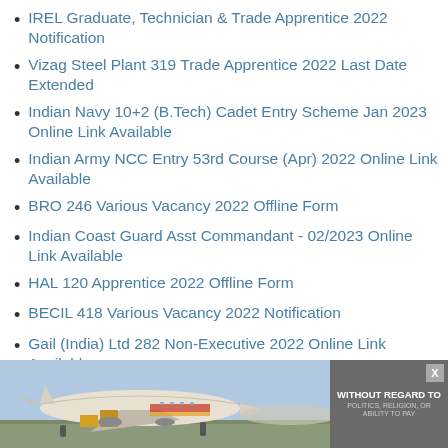IREL Graduate, Technician & Trade Apprentice 2022 Notification
Vizag Steel Plant 319 Trade Apprentice 2022 Last Date Extended
Indian Navy 10+2 (B.Tech) Cadet Entry Scheme Jan 2023 Online Link Available
Indian Army NCC Entry 53rd Course (Apr) 2022 Online Link Available
BRO 246 Various Vacancy 2022 Offline Form
Indian Coast Guard Asst Commandant - 02/2023 Online Link Available
HAL 120 Apprentice 2022 Offline Form
BECIL 418 Various Vacancy 2022 Notification
Gail (India) Ltd 282 Non-Executive 2022 Online Link Available
Army AFMS 420 Medical Officer Online Form
[Figure (photo): Advertisement banner showing cargo aircraft being loaded, with text 'WITHOUT REGARD TO POLITICS, RELIGION, OR ABILITY TO PAY']